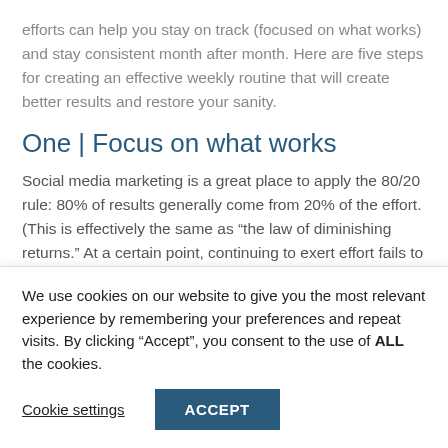efforts can help you stay on track (focused on what works) and stay consistent month after month. Here are five steps for creating an effective weekly routine that will create better results and restore your sanity.
One | Focus on what works
Social media marketing is a great place to apply the 80/20 rule: 80% of results generally come from 20% of the effort. (This is effectively the same as “the law of diminishing returns.” At a certain point, continuing to exert effort fails to continue to give
We use cookies on our website to give you the most relevant experience by remembering your preferences and repeat visits. By clicking “Accept”, you consent to the use of ALL the cookies.
Cookie settings
ACCEPT